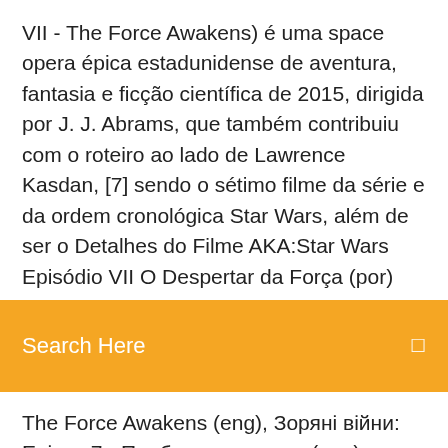VII - The Force Awakens) é uma space opera épica estadunidense de aventura, fantasia e ficção científica de 2015, dirigida por J. J. Abrams, que também contribuiu com o roteiro ao lado de Lawrence Kasdan, [7] sendo o sétimo filme da série e da ordem cronológica Star Wars, além de ser o Detalhes do Filme AKA:Star Wars Episódio VII O Despertar da Força (por)
Search Here
The Force Awakens (eng), Зоряні війни: Епізод 7 - Пробудження сили (eng), Зоряні війни: Пробудження сили (eng), Star Wars Episode VII: The Star Wars: Episode VII The Force Awakens Opening Crawl Only one character name has ever marked the start of a Star Wars crawl: "Luke Skywalker," which opened the prologue for Return of the Jedi and, 32 years later, The Force Awakens. Download Star Wars: Episode VII – The Force Awakens Movie Dual Audio (Hindi-English) 720p & 480p & 1080p. This is a dual audio movie and available in 720p &